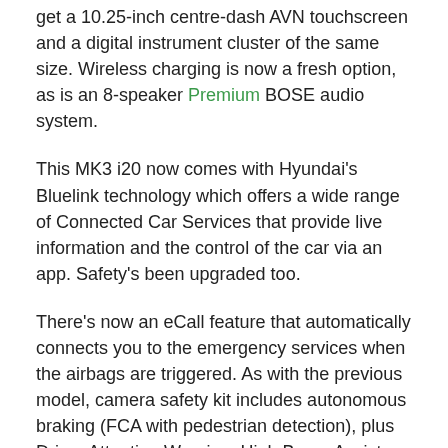get a 10.25-inch centre-dash AVN touchscreen and a digital instrument cluster of the same size. Wireless charging is now a fresh option, as is an 8-speaker Premium BOSE audio system.
This MK3 i20 now comes with Hyundai's Bluelink technology which offers a wide range of Connected Car Services that provide live information and the control of the car via an app. Safety's been upgraded too.
There's now an eCall feature that automatically connects you to the emergency services when the airbags are triggered. As with the previous model, camera safety kit includes autonomous braking (FCA with pedestrian detection), plus Driver Attention Warning, High Beam Assist, Intelligent Speed Limit Assist and Lane Keeping Assist.
In addition, Blind-spot Collision-avoidance Assist Warning (BCA) uses radar to monitor rear corners and, if another vehicle is detected, a visual alert appears on the exterior mirrors.